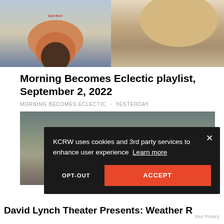[Figure (photo): Two photos side by side: left shows a person in a red top and jeans against a light blue background; right shows a person in a brown/tan jacket against a warm background.]
Morning Becomes Eclectic playlist, September 2, 2022
MORNING BECOMES ECLECTIC · YESTERDAY
[Figure (photo): Photo of a person viewed from above against a dark textured background.]
KCRW uses cookies and 3rd party services to enhance user experience Learn more
OPT-OUT   ACCEPT
David Lynch Theater Presents: Weather R